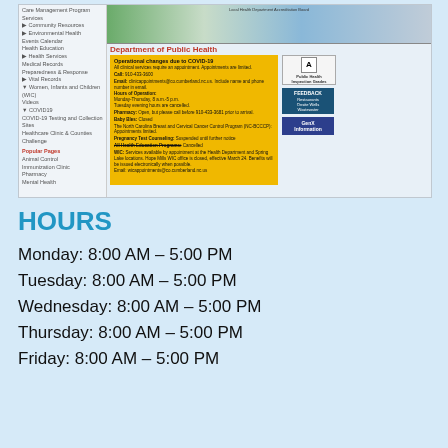[Figure (screenshot): Screenshot of Cumberland County Department of Public Health website showing navigation menu on left, building photo at top, COVID-19 operational changes notice in yellow box, and sidebar buttons for Inspection Grades, Feedback, and GenX Information]
HOURS
Monday: 8:00 AM – 5:00 PM
Tuesday: 8:00 AM – 5:00 PM
Wednesday: 8:00 AM – 5:00 PM
Thursday: 8:00 AM – 5:00 PM
Friday: 8:00 AM – 5:00 PM